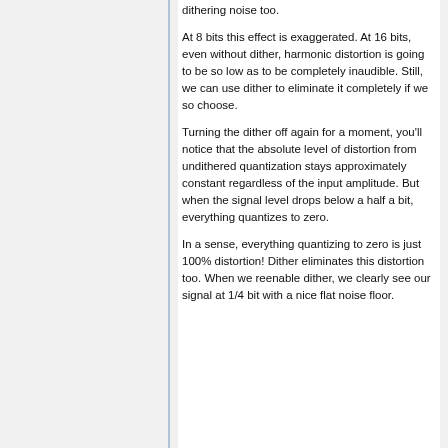At 8 bits this effect is exaggerated. At 16 bits, even without dither, harmonic distortion is going to be so low as to be completely inaudible. Still, we can use dither to eliminate it completely if we so choose.
Turning the dither off again for a moment, you'll notice that the absolute level of distortion from undithered quantization stays approximately constant regardless of the input amplitude. But when the signal level drops below a half a bit, everything quantizes to zero.
In a sense, everything quantizing to zero is just 100% distortion! Dither eliminates this distortion too. When we reenable dither, we clearly see our signal at 1/4 bit with a nice flat noise floor.